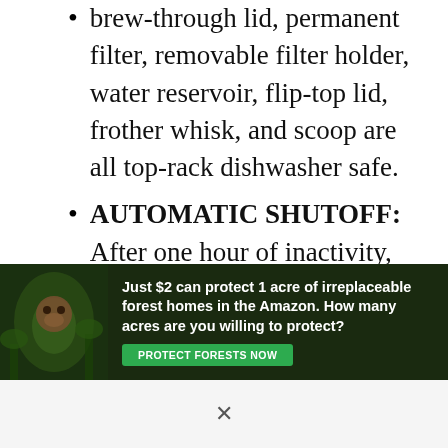brew-through lid, permanent filter, removable filter holder, water reservoir, flip-top lid, frother whisk, and scoop are all top-rack dishwasher safe.
AUTOMATIC SHUTOFF: After one hour of inactivity, the system will power off automatically.
WHAT'S INCLUDED: Ninja Specialty Coffee Maker, 50-oz (10-cup) Glass Carafe, Fold-Away Frother, Permanent filter, 40-oz.
[Figure (other): Buy on Amazon button with Amazon logo]
[Figure (other): Advertisement banner: Just $2 can protect 1 acre of irreplaceable forest homes in the Amazon. How many acres are you willing to protect? PROTECT FORESTS NOW button. Background shows forest/orangutan imagery.]